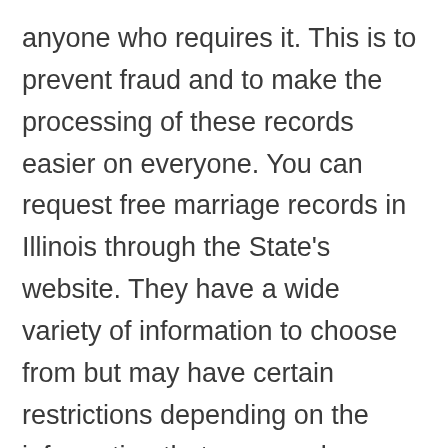anyone who requires it. This is to prevent fraud and to make the processing of these records easier on everyone. You can request free marriage records in Illinois through the State's website. They have a wide variety of information to choose from but may have certain restrictions depending on the information that you need.
The records office in Marshall County is one of several offices in the state that offer a free search for marriage records in Illinois. You can usually